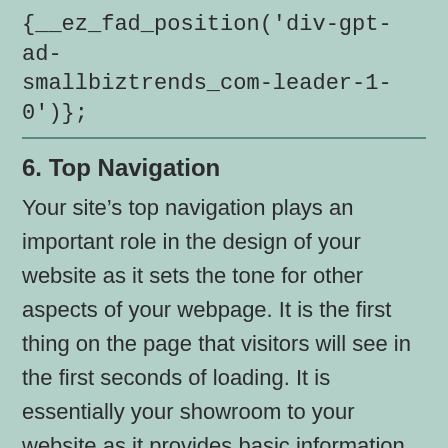{__ez_fad_position('div-gpt-ad-smallbiztrends_com-leader-1-0')};
6. Top Navigation
Your site’s top navigation plays an important role in the design of your website as it sets the tone for other aspects of your webpage. It is the first thing on the page that visitors will see in the first seconds of loading. It is essentially your showroom to your website as it provides basic information about the site.  Visitors can easily understand what the site offers in seconds and has action buttons to help visitors reach where they need to get to.